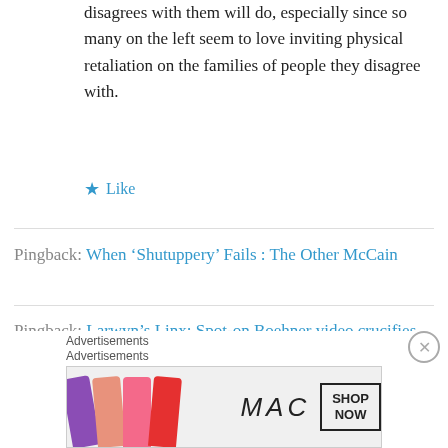disagrees with them will do, especially since so many on the left seem to love inviting physical retaliation on the families of people they disagree with.
Like
Pingback: When ‘Shutuppery’ Fails : The Other McCain
Pingback: Larwyn’s Linx: Spot-on Boehner video crucifies Obama: Who won’t he negotiate with? | Preppers Universe
Advertisements
Advertisements
[Figure (photo): MAC cosmetics advertisement banner showing lipsticks and MAC logo with SHOP NOW text]